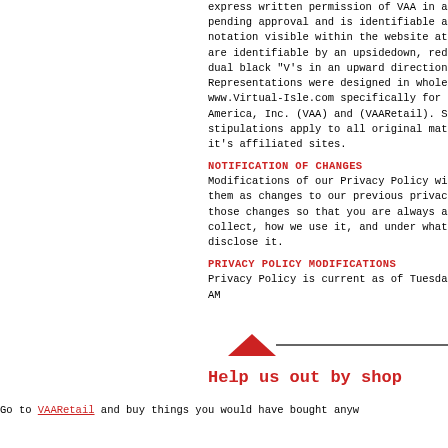express written permission of VAA in a pending approval and is identifiable at notation visible within the website at are identifiable by an upsidedown, red dual black "V's in an upward direction. Representations were designed in whole www.Virtual-Isle.com specifically for America, Inc. (VAA) and (VAARetail). S stipulations apply to all original mat it's affiliated sites.
NOTIFICATION OF CHANGES
Modifications of our Privacy Policy wi them as changes to our previous privac those changes so that you are always a collect, how we use it, and under what disclose it.
PRIVACY POLICY MODIFICATIONS
Privacy Policy is current as of Tuesda AM
[Figure (other): Decorative red arrow/triangle with horizontal line divider]
Help us out by shop
Go to VAARetail and buy things you would have bought anyw